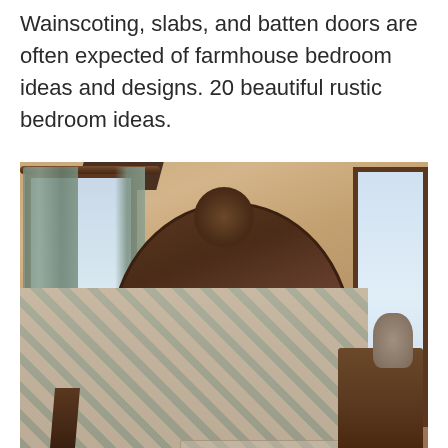Wainscoting, slabs, and batten doors are often expected of farmhouse bedroom ideas and designs. 20 beautiful rustic bedroom ideas.
[Figure (photo): Interior photo of a rustic/farmhouse-style bedroom featuring an ornate dark wood carved headboard, decorative pillows in teal and brown tones, an ikat-patterned bedspread, a table tray with decorative objects on the bed, teal-and-brown curtains on a window to the left, a lamp on a nightstand, exposed wooden ceiling beam, and a window on the right side.]